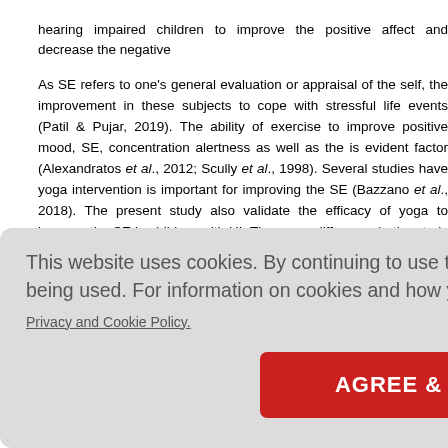hearing impaired children to improve the positive affect and decrease the negative
As SE refers to one's general evaluation or appraisal of the self, the improvement in these subjects to cope with stressful life events (Patil & Pujar, 2019). The ability of exercise to improve positive mood, SE, concentration alertness as well as the is evident factor (Alexandratos et al., 2012; Scully et al., 1998). Several studies have yoga intervention is important for improving the SE (Bazzano et al., 2018). The present study also validate the efficacy of yoga to improve the SE in children with HI. The mean difference in the study group was + 8.55, and in the control group improved SE scale shows that 1 month of structured yoga program improves the in the subjects with HI.
This website uses cookies. By continuing to use this website you are giving consent to cookies being used. For information on cookies and how you can disable them visit our Privacy and Cookie Policy.
rized by polymetric te nbination of the mental al balance, hearing-imp